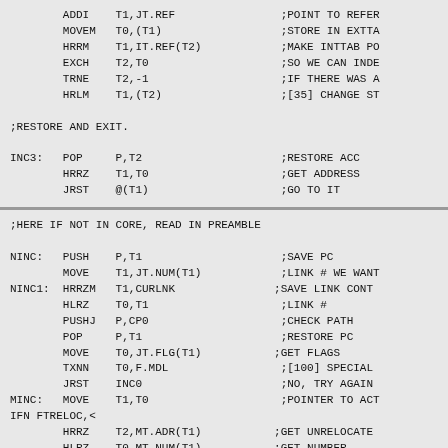ADDI T1,JT.REF ;POINT TO REFER
 MOVEM T0,(T1) ;STORE IN EXTTA
 HRRM T1,IT.REF(T2) ;MAKE INTTAB PO
 EXCH T2,T0 ;SO WE CAN INDE
 TRNE T2,-1 ;IF THERE WAS A
 HRLM T1,(T2) ;[35] CHANGE ST

;RESTORE AND EXIT.

INC3: POP P,T2 ;RESTORE ACC
 HRRZ T1,T0 ;GET ADDRESS
 JRST @(T1) ;GO TO IT
;HERE IF NOT IN CORE, READ IN PREAMBLE

NINC: PUSH P,T1 ;SAVE PC
 MOVE T1,JT.NUM(T1) ;LINK # WE WANT
NINC1: HRRZM T1,CURLNK ;SAVE LINK CONT
 HLRZ T0,T1 ;LINK #
 PUSHJ P,CP0 ;CHECK PATH
 POP P,T1 ;RESTORE PC
 MOVE T0,JT.FLG(T1) ;GET FLAGS
 TXNN T0,F.MDL ;[100] SPECIAL
 JRST INC0 ;NO, TRY AGAIN
MINC: MOVE T1,T0 ;POINTER TO ACT
IFN FTRELOC,<
 HRRZ T2,MT.ADR(T1) ;GET UNRELOCATE
 HLRZ T0,MT.NUM(T1) ;GET NUMBER